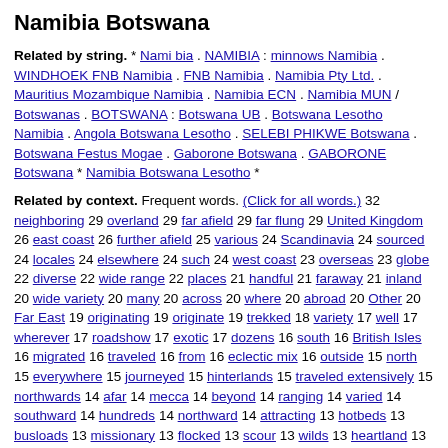Namibia Botswana
Related by string. * Nami bia . NAMIBIA : minnows Namibia . WINDHOEK FNB Namibia . FNB Namibia . Namibia Pty Ltd. . Mauritius Mozambique Namibia . Namibia ECN . Namibia MUN / Botswanas . BOTSWANA : Botswana UB . Botswana Lesotho Namibia . Angola Botswana Lesotho . SELEBI PHIKWE Botswana . Botswana Festus Mogae . Gaborone Botswana . GABORONE Botswana * Namibia Botswana Lesotho *
Related by context. Frequent words. (Click for all words.) 32 neighboring 29 overland 29 far afield 29 far flung 29 United Kingdom 26 east coast 26 further afield 25 various 24 Scandinavia 24 sourced 24 locales 24 elsewhere 24 such 24 west coast 23 overseas 23 globe 22 diverse 22 wide range 22 places 21 handful 21 faraway 21 inland 20 wide variety 20 many 20 across 20 where 20 abroad 20 Other 20 Far East 19 originating 19 originate 19 trekked 18 variety 17 well 17 wherever 17 roadshow 17 exotic 17 dozens 16 south 16 British Isles 16 migrated 16 traveled 16 from 16 eclectic mix 16 outside 15 north 15 everywhere 15 journeyed 15 hinterlands 15 traveled extensively 15 northwards 14 afar 14 mecca 14 beyond 14 ranging 14 varied 14 southward 14 hundreds 14 northward 14 attracting 13 hotbeds 13 busloads 13 missionary 13 flocked 13 scour 13 wilds 13 heartland 13 as 13 attracted 12